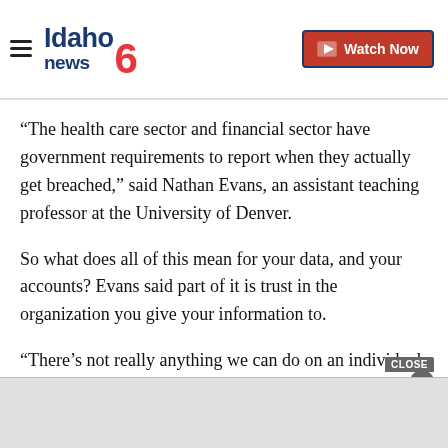Idaho news6 | Watch Now
“The health care sector and financial sector have government requirements to report when they actually get breached,” said Nathan Evans, an assistant teaching professor at the University of Denver.
So what does all of this mean for your data, and your accounts? Evans said part of it is trust in the organization you give your information to.
“There’s not really anything we can do on an individual basis to protect our medical information The ... HIPAA ...